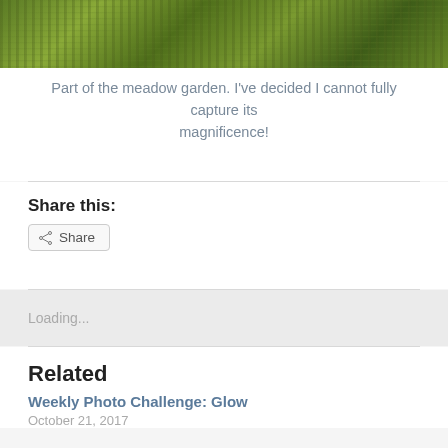[Figure (photo): Partial view of a meadow garden with dense green vegetation and trees in the background]
Part of the meadow garden. I've decided I cannot fully capture its magnificence!
Share this:
Share
Loading...
Related
Weekly Photo Challenge: Glow
October 21, 2017